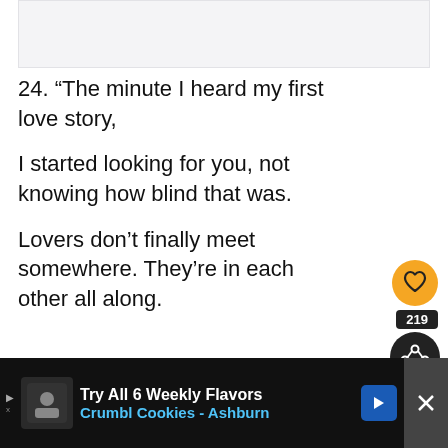[Figure (other): Gray header/image area at top of page]
24. “The minute I heard my first love story,

I started looking for you, not knowing how blind that was.

Lovers don’t finally meet somewhere. They’re in each other all along.
[Figure (infographic): Orange circular like/heart button with count 219 and dark share button]
[Figure (infographic): What's Next panel showing Pablo Neruda Quotes Sure... with avatar]
[Figure (infographic): Advertisement bar: Try All 6 Weekly Flavors Crumbl Cookies - Ashburn]